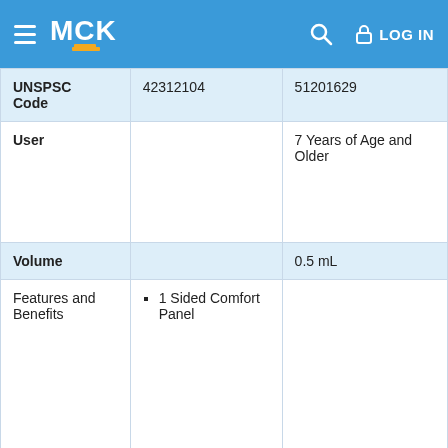MCK | LOG IN
| UNSPSC Code | 42312104 | 51201629 |
| User |  | 7 Years of Age and Older |
| Volume |  | 0.5 mL |
| Features and Benefits | 1 Sided Comfort Panel |  |